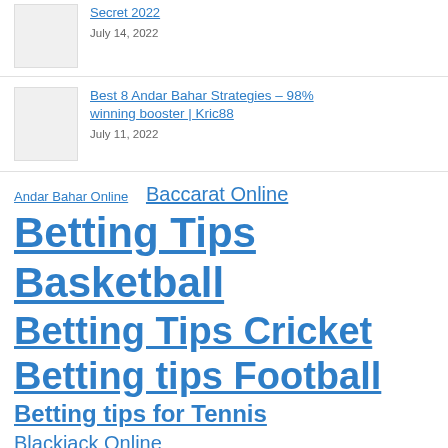[Figure (photo): Thumbnail image placeholder]
Secret 2022
July 14, 2022
[Figure (photo): Thumbnail image placeholder]
Best 8 Andar Bahar Strategies – 98% winning booster | Kric88
July 11, 2022
Andar Bahar Online
Baccarat Online
Betting Tips Basketball
Betting Tips Cricket
Betting tips Football
Betting tips for Tennis
Blackjack Online
IPL Betting tips
Roulette Online
Slots Online